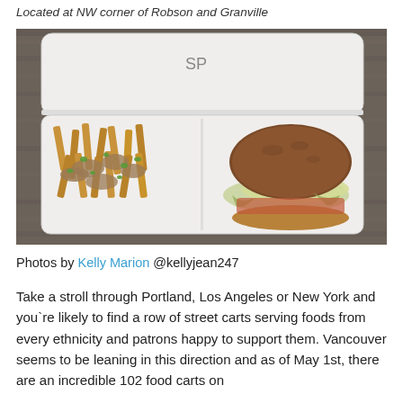Located at NW corner of Robson and Granville
[Figure (photo): A takeaway food container with two compartments on a wooden table. The left compartment contains fries with mushrooms and green onions (poutine-style), and the right compartment contains a sandwich/burger with coleslaw and a dark bun. The container lid is open and displays 'SP' branding.]
Photos by Kelly Marion @kellyjean247
Take a stroll through Portland, Los Angeles or New York and you`re likely to find a row of street carts serving foods from every ethnicity and patrons happy to support them. Vancouver seems to be leaning in this direction and as of May 1st, there are an incredible 102 food carts on